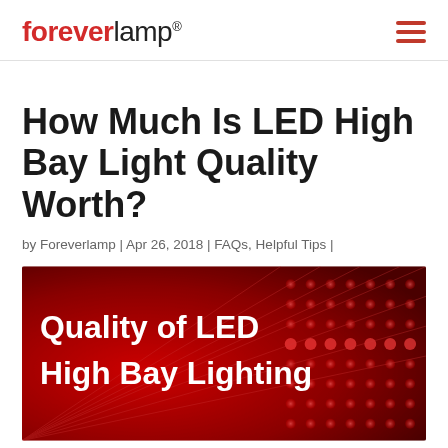foreverlamp®
How Much Is LED High Bay Light Quality Worth?
by Foreverlamp | Apr 26, 2018 | FAQs, Helpful Tips |
[Figure (photo): Red LED high bay lighting background image with white bold text reading 'Quality of LED High Bay Lighting']